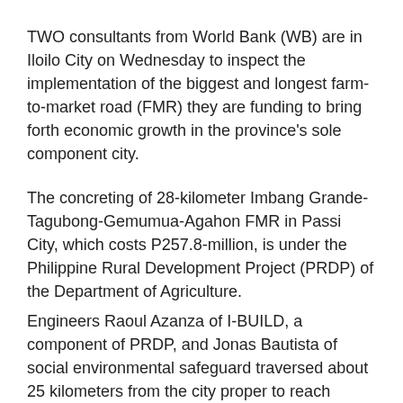TWO consultants from World Bank (WB) are in Iloilo City on Wednesday to inspect the implementation of the biggest and longest farm-to-market road (FMR) they are funding to bring forth economic growth in the province's sole component city.
The concreting of 28-kilometer Imbang Grande-Tagubong-Gemumua-Agahon FMR in Passi City, which costs P257.8-million, is under the Philippine Rural Development Project (PRDP) of the Department of Agriculture.
Engineers Raoul Azanza of I-BUILD, a component of PRDP, and Jonas Bautista of social environmental safeguard traversed about 25 kilometers from the city proper to reach